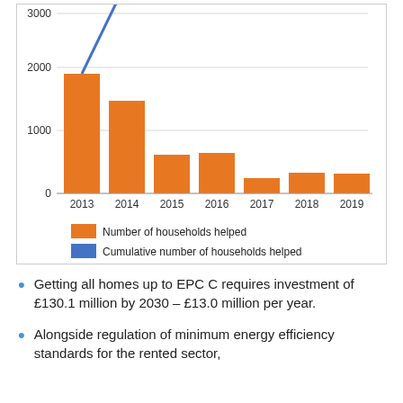[Figure (bar-chart): ]
Getting all homes up to EPC C requires investment of £130.1 million by 2030 – £13.0 million per year.
Alongside regulation of minimum energy efficiency standards for the rented sector,